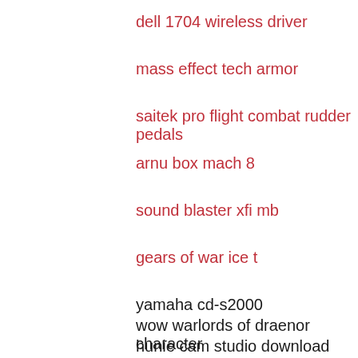dell 1704 wireless driver
mass effect tech armor
saitek pro flight combat rudder pedals
arnu box mach 8
sound blaster xfi mb
gears of war ice t
yamaha cd-s2000
wow warlords of draenor character
hunie cam studio download
total war warhammer lore of shadow
monster truck madness 2 download